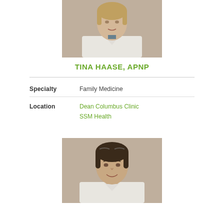[Figure (photo): Professional headshot of Tina Haase, APNP – female provider in white coat against neutral background]
TINA HAASE, APNP
Specialty: Family Medicine
Location: Dean Columbus Clinic, SSM Health
[Figure (photo): Professional headshot of male provider – man with dark hair in white coat against neutral background]